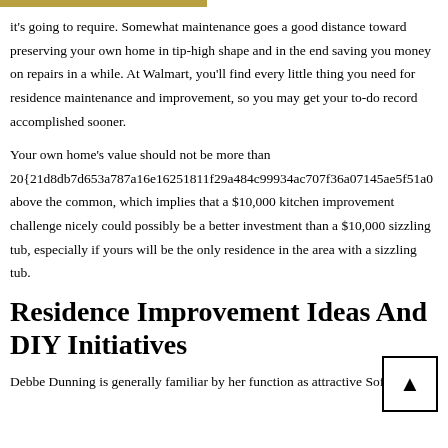it's going to require. Somewhat maintenance goes a good distance toward preserving your own home in tip-high shape and in the end saving you money on repairs in a while. At Walmart, you'll find every little thing you need for residence maintenance and improvement, so you may get your to-do record accomplished sooner.
Your own home's value should not be more than 20{21d8db7d653a787a16e16251811f29a484c99934ac707f36a07145ae5f51a0 above the common, which implies that a $10,000 kitchen improvement challenge nicely could possibly be a better investment than a $10,000 sizzling tub, especially if yours will be the only residence in the area with a sizzling tub.
Residence Improvement Ideas And DIY Initiatives
Debbe Dunning is generally familiar by her function as attractive Software